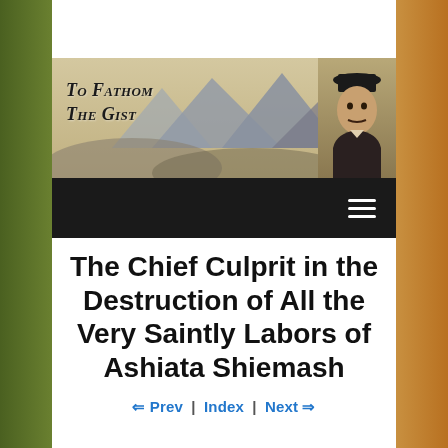[Figure (illustration): Website banner for 'To Fathom The Gist' blog showing mountain landscape in sepia tones with portrait of a man (Gurdjieff) on the right side]
[Figure (infographic): Dark navigation bar with hamburger menu icon (three horizontal lines) on the right]
The Chief Culprit in the Destruction of All the Very Saintly Labors of Ashiata Shiemash
⇐ Prev | Index | Next ⇒